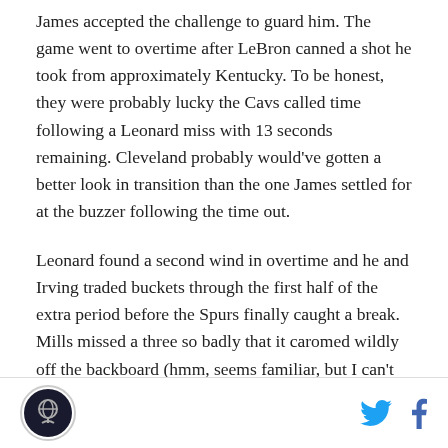James accepted the challenge to guard him. The game went to overtime after LeBron canned a shot he took from approximately Kentucky. To be honest, they were probably lucky the Cavs called time following a Leonard miss with 13 seconds remaining. Cleveland probably would've gotten a better look in transition than the one James settled for at the buzzer following the time out.
Leonard found a second wind in overtime and he and Irving traded buckets through the first half of the extra period before the Spurs finally caught a break. Mills missed a three so badly that it caromed wildly off the backboard (hmm, seems familiar, but I can't put my finger on it), allowing Ginobili to pounce on it and feed
[Figure (logo): Circular logo with dark background, white graphic in center]